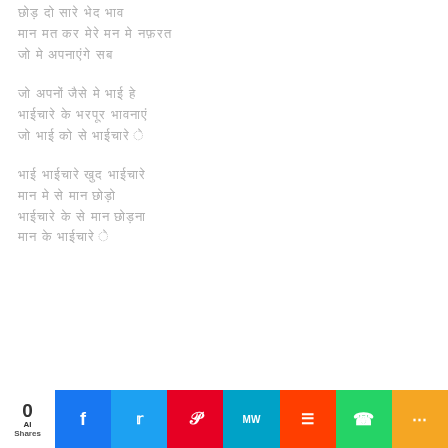छोड़ दो सारे भेद भाव
मान मत कर मेरे मन मे नफ़रत
जो मे अपनाएंगे सब
जो अपनों जैसे मे भाई हे
भाईचारे के भरपूर भावनाएं
जो भाई को से भाईचारे े
भाई भाईचारे खुद भाईचारे
मान मे से मान छोड़ो
भाईचारे के से मान छोड़ना
मान के भाईचारे े
0 AI Shares | Facebook | Twitter | Pinterest | MixW | Mix | WhatsApp | More